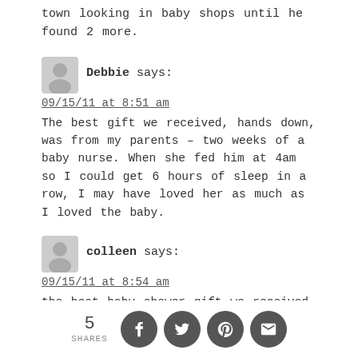town looking in baby shops until he found 2 more.
Debbie says:
09/15/11 at 8:51 am
The best gift we received, hands down, was from my parents – two weeks of a baby nurse. When she fed him at 4am so I could get 6 hours of sleep in a row, I may have loved her as much as I loved the baby.
colleen says:
09/15/11 at 8:54 am
the best baby shower gift we received was a handmade quilt from my sister.... who never once let on that she was tackling a quilt (she
5 SHARES